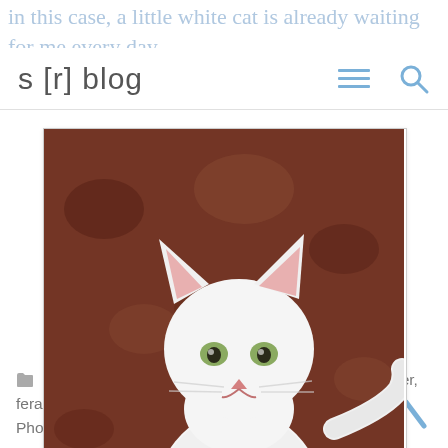in this case, a little white cat is already waiting for me every day.
s [r] blog
[Figure (photo): A white cat sitting on a reddish-brown concrete floor, looking up at the camera. The cat has pink ears and green eyes. Its tail extends to the right.]
Feisty looking up at me 9-16-14
Guest Posts   Baboon Baboon, Carolyn Lavender, feral cats, Monica Aissa Martinez, Phoenix Museum, Phoenix Zoo   4 Comments